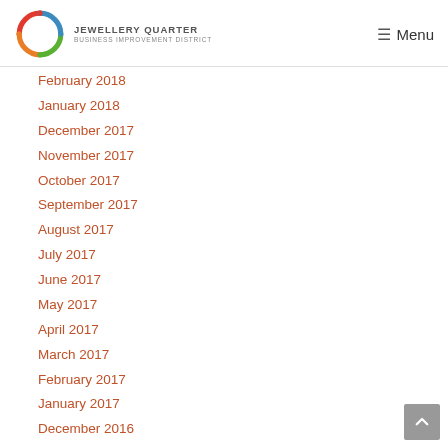Jewellery Quarter Business Improvement District — Menu
February 2018
January 2018
December 2017
November 2017
October 2017
September 2017
August 2017
July 2017
June 2017
May 2017
April 2017
March 2017
February 2017
January 2017
December 2016